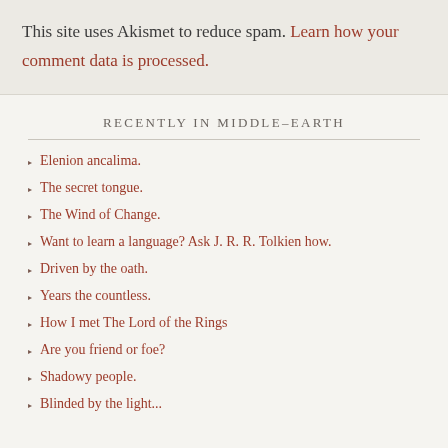This site uses Akismet to reduce spam. Learn how your comment data is processed.
RECENTLY IN MIDDLE–EARTH
Elenion ancalima.
The secret tongue.
The Wind of Change.
Want to learn a language? Ask J. R. R. Tolkien how.
Driven by the oath.
Years the countless.
How I met The Lord of the Rings
Are you friend or foe?
Shadowy people.
Blinded by the light...